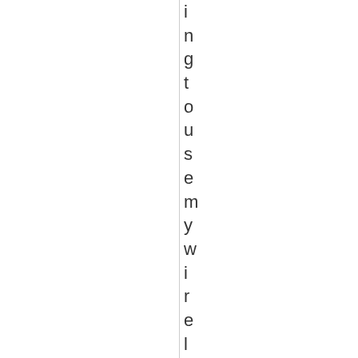ingto use my wireless keyboard for b